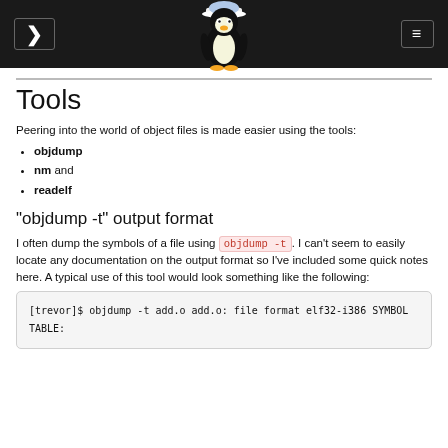Tools
Peering into the world of object files is made easier using the tools:
objdump
nm and
readelf
"objdump -t" output format
I often dump the symbols of a file using objdump -t. I can't seem to easily locate any documentation on the output format so I've included some quick notes here. A typical use of this tool would look something like the following:
[trevor]$ objdump -t add.o

add.o:     file format elf32-i386

SYMBOL TABLE: